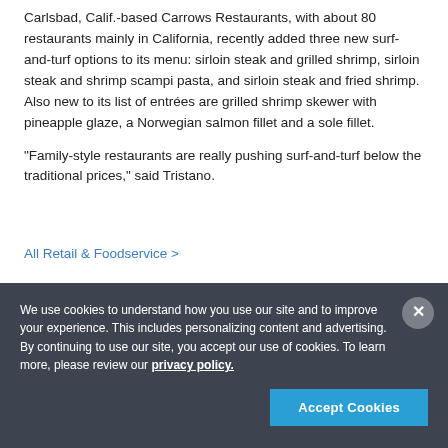Carlsbad, Calif.-based Carrows Restaurants, with about 80 restaurants mainly in California, recently added three new surf-and-turf options to its menu: sirloin steak and grilled shrimp, sirloin steak and shrimp scampi pasta, and sirloin steak and fried shrimp. Also new to its list of entrées are grilled shrimp skewer with pineapple glaze, a Norwegian salmon fillet and a sole fillet.
"Family-style restaurants are really pushing surf-and-turf below the traditional prices," said Tristano.
All Retail & Foodservice >
We use cookies to understand how you use our site and to improve your experience. This includes personalizing content and advertising. By continuing to use our site, you accept our use of cookies. To learn more, please review our privacy policy.